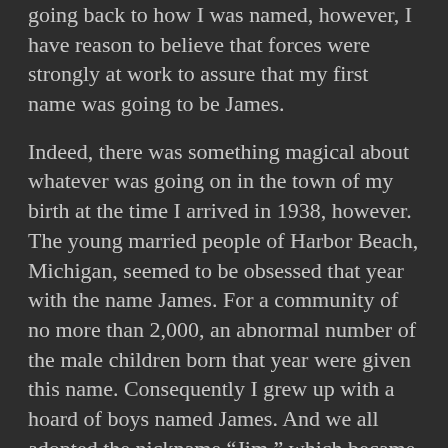Going back to how I was named, however, I have reason to believe that forces were strongly at work to assure that my first name was going to be James.
Indeed, there was something magical about whatever was going on in the town of my birth at the time I arrived in 1938, however. The young married people of Harbor Beach, Michigan, seemed to be obsessed that year with the name James. For a community of no more than 2,000, an abnormal number of the male children born that year were given this name. Consequently I grew up with a hoard of boys named James. And we all adopted the nickname “Jim,” which became a nightmare for teachers once we all began attending school.
In my own neighborhood on South Huron Avenue I lived with James Roberts and James Gillespie as next-door neighbors. We lived side-by-side and grew up together like brothers. Once in school there was